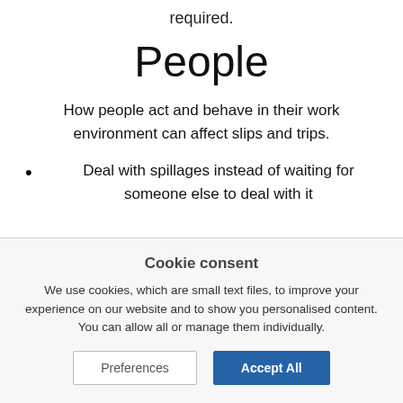required.
People
How people act and behave in their work environment can affect slips and trips.
Deal with spillages instead of waiting for someone else to deal with it
Cookie consent
We use cookies, which are small text files, to improve your experience on our website and to show you personalised content. You can allow all or manage them individually.
Preferences | Accept All